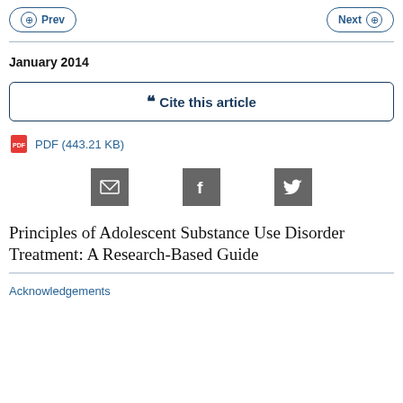Prev | Next
January 2014
Cite this article
PDF (443.21 KB)
[Figure (infographic): Three social sharing icons: email (envelope), Facebook (f), Twitter (bird), displayed as dark grey square buttons]
Principles of Adolescent Substance Use Disorder Treatment: A Research-Based Guide
Acknowledgements